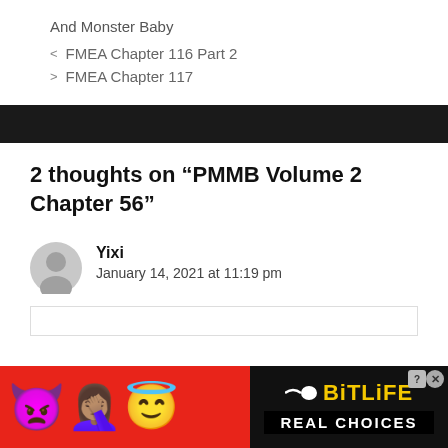And Monster Baby
< FMEA Chapter 116 Part 2
> FMEA Chapter 117
2 thoughts on “PMMB Volume 2 Chapter 56”
Yixi
January 14, 2021 at 11:19 pm
[Figure (infographic): BitLife advertisement banner with emoji characters on red background and BitLife logo with 'REAL CHOICES' text]